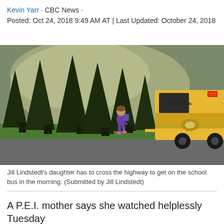Kevin Yarr · CBC News · Posted: Oct 24, 2018 9:49 AM AT | Last Updated: October 24, 2018
[Figure (photo): A young girl with a backpack crossing a highway road in front of a yellow school bus, with tall pine trees and green field in the background. Early morning light.]
Jill Lindstedt's daughter has to cross the highway to get on the school bus in the morning. (Submitted by Jill Lindstedt)
A P.E.I. mother says she watched helplessly Tuesday